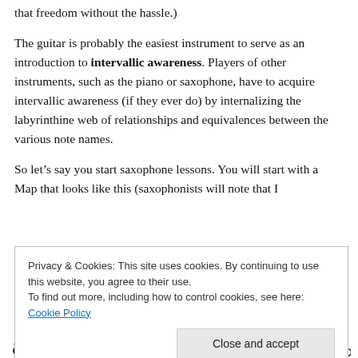that freedom without the hassle.)
The guitar is probably the easiest instrument to serve as an introduction to intervallic awareness. Players of other instruments, such as the piano or saxophone, have to acquire intervallic awareness (if they ever do) by internalizing the labyrinthine web of relationships and equivalences between the various note names.
So let's say you start saxophone lessons. You will start with a Map that looks like this (saxophonists will note that I
Privacy & Cookies: This site uses cookies. By continuing to use this website, you agree to their use.
To find out more, including how to control cookies, see here: Cookie Policy
[Figure (illustration): Row of musical note symbols (saxophone fingering chart dots) at the bottom of the page]